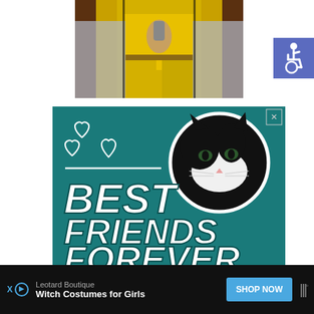[Figure (photo): Person wearing yellow outfit, cropped torso/legs view, holding a microphone, sitting against a light background]
[Figure (illustration): Blue/purple square icon with white wheelchair accessibility symbol]
[Figure (infographic): Advertisement banner with teal background showing a black and white cat face with white hearts and text reading BEST FRIENDS FOREVER in large bold italic white letters]
[Figure (infographic): Bottom advertisement bar with black background: Leotard Boutique, Witch Costumes for Girls, SHOP NOW button, music streaming logo]